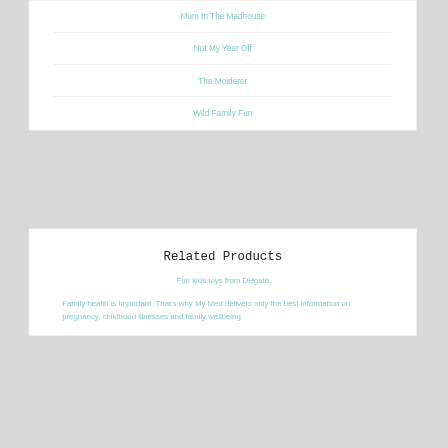Mum In The Madhouse
Not My Year Off
The Moiderer
Wild Family Fun
Related Products
Fun kids toys from DHgate
Family health is important. That's why My Med delivers only the best information on pregnancy, childhood illnesses and family wellbeing.